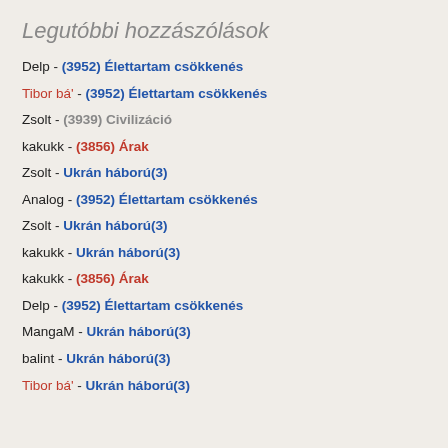Legutóbbi hozzászólások
Delp - (3952) Élettartam csökkenés
Tibor bá' - (3952) Élettartam csökkenés
Zsolt - (3939) Civilizáció
kakukk - (3856) Árak
Zsolt - Ukrán háború(3)
Analog - (3952) Élettartam csökkenés
Zsolt - Ukrán háború(3)
kakukk - Ukrán háború(3)
kakukk - (3856) Árak
Delp - (3952) Élettartam csökkenés
MangaM - Ukrán háború(3)
balint - Ukrán háború(3)
Tibor bá' - Ukrán háború(3)